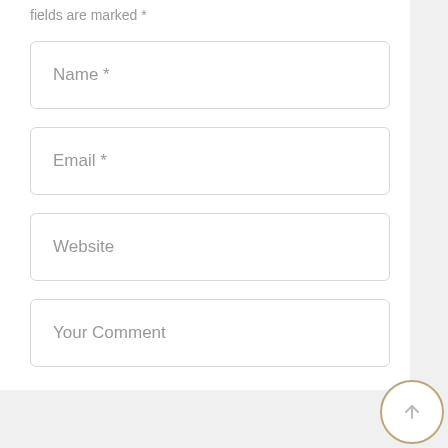fields are marked *
Name *
Email *
Website
Your Comment
POST COMMENT